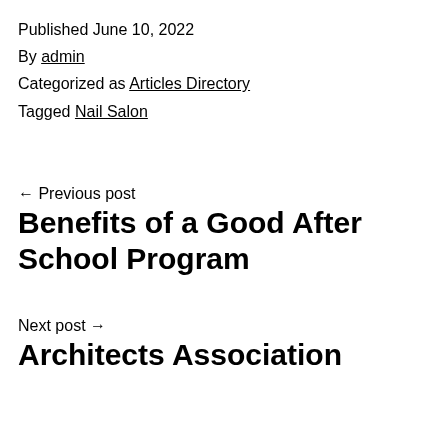Published June 10, 2022
By admin
Categorized as Articles Directory
Tagged Nail Salon
← Previous post
Benefits of a Good After School Program
Next post →
Architects Association